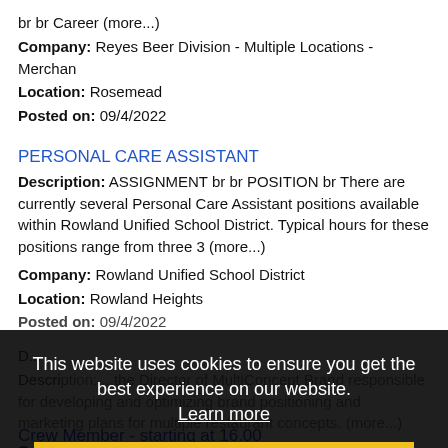br br Career (more...)
Company: Reyes Beer Division - Multiple Locations - Merchan
Location: Rosemead
Posted on: 09/4/2022
PERSONAL CARE ASSISTANT
Description: ASSIGNMENT br br POSITION br There are currently several Personal Care Assistant positions available within Rowland Unified School District. Typical hours for these positions range from three 3 (more...)
Company: Rowland Unified School District
Location: Rowland Heights
Posted on: 09/4/2022
Description: ...the Director of MultiConcept Brand responsible for developing and optimizing brand positioning and marketing plans for multiple restaurant concepts. (more...)
Company: Panda Restaurant Group
Location: Rosemead
Posted on: 09/4/2022
This website uses cookies to ensure you get the best experience on our website. Learn more  Got it!
Crew Member - starting at 16.00